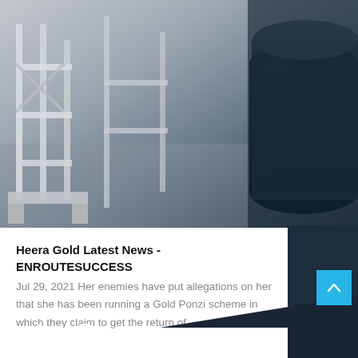[Figure (photo): Industrial machinery photo showing metal frames and a large dark blue cylindrical roller/drum, with metal structural components visible]
Heera Gold Latest News - ENROUTESUCCESS
Jul 29, 2021 Her enemies have put allegations on her that she has been running a Gold Ponzi scheme in which they claim to get the return of…
Latest Blog